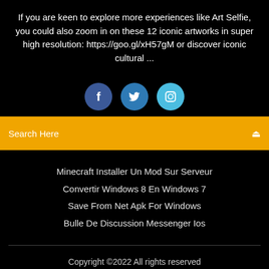If you are keen to explore more experiences like Art Selfie, you could also zoom in on these 12 iconic artworks in super high resolution: https://goo.gl/xH57gM or discover iconic cultural ...
[Figure (other): Three social media icon buttons: Facebook (dark blue circle with 'f'), Twitter (medium blue circle with bird icon), Instagram (light blue circle with camera icon)]
Search Here
Minecraft Installer Un Mod Sur Serveur
Convertir Windows 8 En Windows 7
Save From Net Apk For Windows
Bulle De Discussion Messenger Ios
Copyright ©2022 All rights reserved